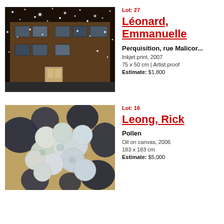Lot: 27
Léonard, Emmanuelle
[Figure (photo): Nighttime exterior photo of a brick building with snow or rain falling, illuminated by lights creating sparkle effects]
Perquisition, rue Malicor...
Inkjet print, 2007
75 x 50 cm | Artist proof
Estimate: $1,800
Lot: 16
Leong, Rick
[Figure (photo): Close-up painting of spherical pollen-like forms in muted blue-gray and green tones against a textured background]
Pollen
Oil on canvas, 2006
183 x 183 cm
Estimate: $5,000